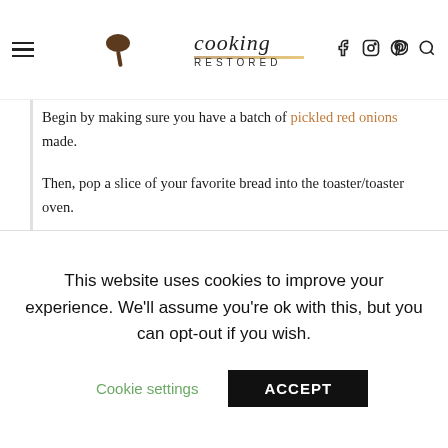cooking RESTORED (logo with hamburger menu and social icons)
Begin by making sure you have a batch of pickled red onions made.
Then, pop a slice of your favorite bread into the toaster/toaster oven.
While your bread is toasting, cook your egg the way you like it. I prefer it over easy/medium and think it goes perfect with this dish.
As your cooking your egg, slice the avocado, prep the
This website uses cookies to improve your experience. We'll assume you're ok with this, but you can opt-out if you wish.
Cookie settings  ACCEPT